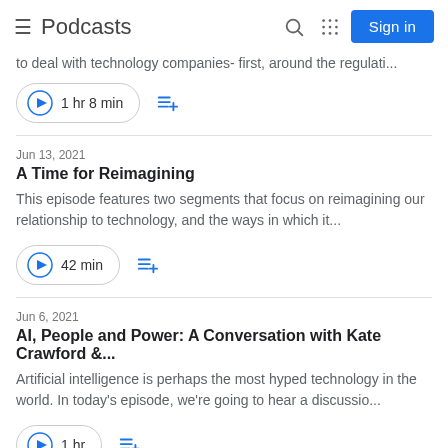Podcasts
to deal with technology companies- first, around the regulati...
1 hr 8 min
Jun 13, 2021
A Time for Reimagining
This episode features two segments that focus on reimagining our relationship to technology, and the ways in which it...
42 min
Jun 6, 2021
AI, People and Power: A Conversation with Kate Crawford &...
Artificial intelligence is perhaps the most hyped technology in the world. In today's episode, we're going to hear a discussio...
1 hr